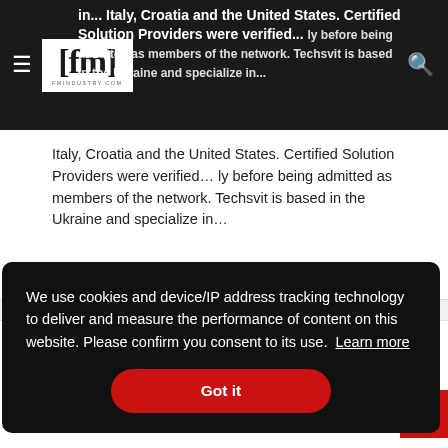fm fmindustry.com
in... Italy, Croatia and the United States. Certified Solution Providers were verified... ly before being admitted as members of the network. Techsvit is based in the Ukraine and specialize in...
News
LMG Bolsters AV Capabilities
We use cookies and device/IP address tracking technology to deliver and measure the performance of content on this website. Please confirm you consent to its use. Learn more
Got it